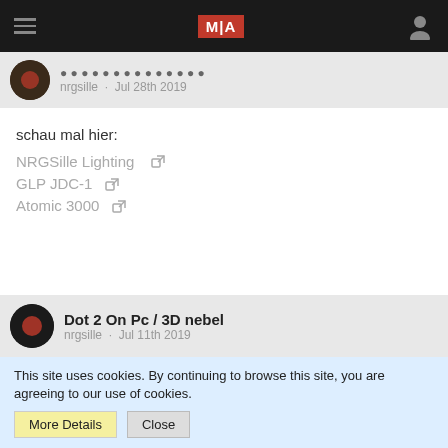MIA navigation bar
nrgsille · Jul 28th 2019
schau mal hier:
NRGSille Lighting
GLP JDC-1
Atomic 3000
Dot 2 On Pc / 3D nebel
nrgsille · Jul 11th 2019
Quote from Thomas2005
This site uses cookies. By continuing to browse this site, you are agreeing to our use of cookies.